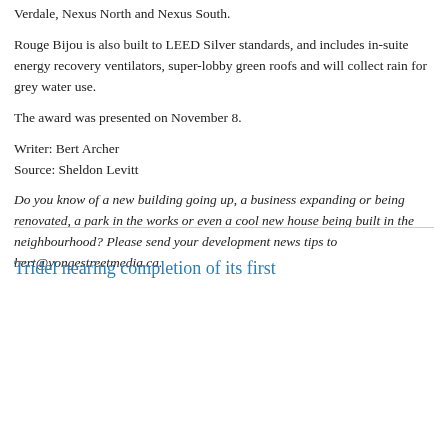Verdale, Nexus North and Nexus South.
Rouge Bijou is also built to LEED Silver standards, and includes in-suite energy recovery ventilators, super-lobby green roofs and will collect rain for grey water use.
The award was presented on November 8.
Writer: Bert Archer
Source: Sheldon Levitt
Do you know of a new building going up, a business expanding or being renovated, a park in the works or even a cool new house being built in the neighbourhood? Please send your development news tips to bert@yongestreetmedia.ca.
Tridel nearing completion of its first